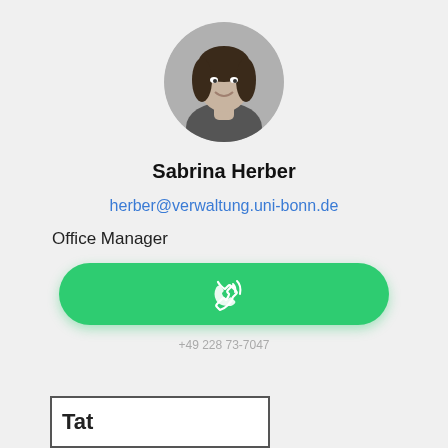[Figure (photo): Circular profile photo of Sabrina Herber, a woman with long dark hair, black and white photo]
Sabrina Herber
herber@verwaltung.uni-bonn.de
Office Manager
[Figure (other): Green rounded call button with a phone/ringing icon]
+49 228 73-7047
[Figure (screenshot): Partial white card at bottom of page with bold text partially visible]